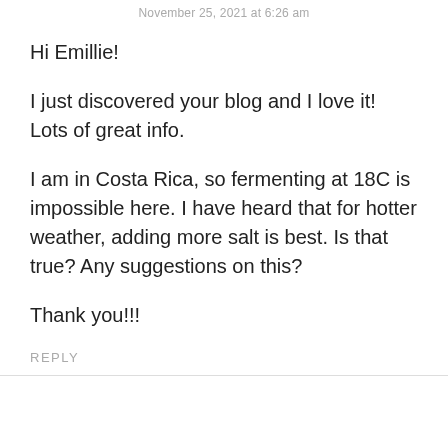November 25, 2021 at 6:26 am
Hi Emillie!
I just discovered your blog and I love it! Lots of great info.
I am in Costa Rica, so fermenting at 18C is impossible here. I have heard that for hotter weather, adding more salt is best. Is that true? Any suggestions on this?
Thank you!!!
REPLY